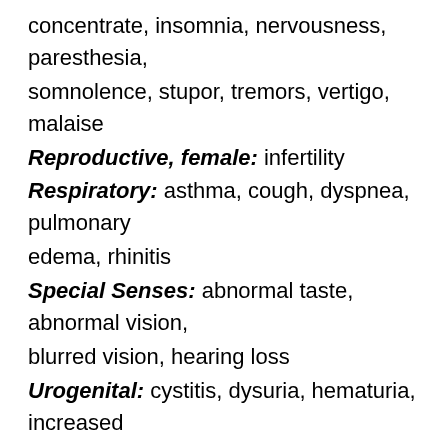concentrate, insomnia, nervousness, paresthesia, somnolence, stupor, tremors, vertigo, malaise
Reproductive, female: infertility
Respiratory: asthma, cough, dyspnea, pulmonary edema, rhinitis
Special Senses: abnormal taste, abnormal vision, blurred vision, hearing loss
Urogenital: cystitis, dysuria, hematuria, increased urinary frequency, interstitial nephritis, oliguria/polyuria, proteinuria, renal failure, urinary retention
Other rarely observed reactions (reported from postmarketing experience in patients taking Ketorolac Fabra (ketorolac tromethamine) or other NSAIDs) are:
Body as a Whole: angioedema, death